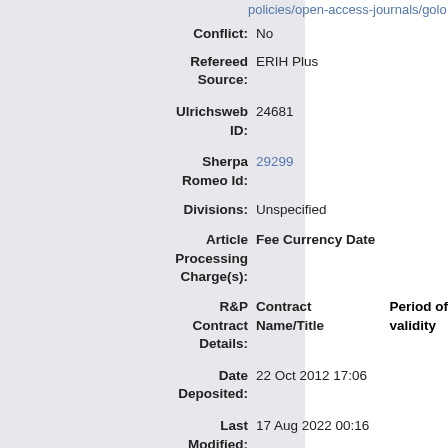policies/open-access-journals/gold
Conflict: No
Refereed Source: ERIH Plus
Ulrichsweb ID: 24681
Sherpa Romeo Id: 29299
Divisions: Unspecified
Article Processing Charge(s): Fee Currency Date
R&P Contract Details: Contract Name/Title | Period of validity
Date Deposited: 22 Oct 2012 17:06
Last Modified: 17 Aug 2022 00:16
URI: https://www.jdb.uzh.ch/id/eprint/24-